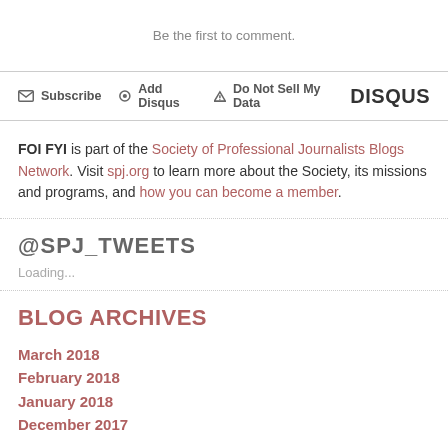Be the first to comment.
✉ Subscribe  ⊙ Add Disqus  ▲ Do Not Sell My Data  DISQUS
FOI FYI is part of the Society of Professional Journalists Blogs Network. Visit spj.org to learn more about the Society, its missions and programs, and how you can become a member.
@SPJ_TWEETS
Loading...
BLOG ARCHIVES
March 2018
February 2018
January 2018
December 2017